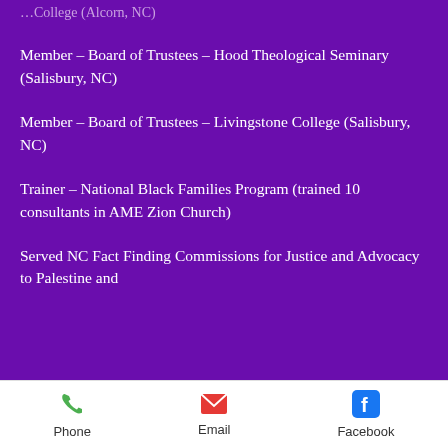…College (Alcorn, NC)
Member – Board of Trustees – Hood Theological Seminary (Salisbury, NC)
Member – Board of Trustees – Livingstone College (Salisbury, NC)
Trainer – National Black Families Program (trained 10 consultants in AME Zion Church)
Served NC Fact Finding Commissions for Justice and Advocacy to Palestine and
Phone   Email   Facebook